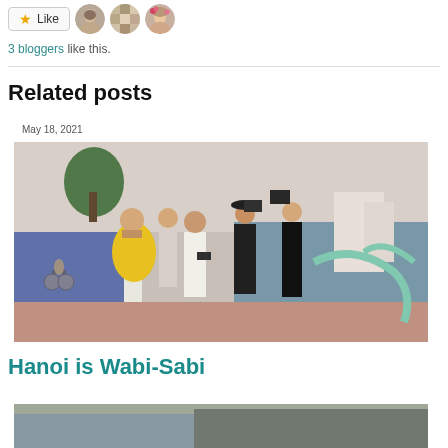[Figure (other): Like button with star icon and three blogger avatar thumbnails]
3 bloggers like this.
Related posts
[Figure (photo): Outdoor photo of a group of photographers and a woman in a yellow dress on a lakeside promenade in Hanoi, Vietnam. Date stamp: May 18, 2021.]
Hanoi is Wabi-Sabi
[Figure (photo): Partial bottom strip of another related post image]